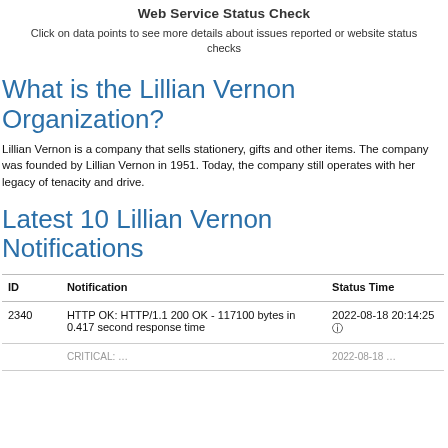Web Service Status Check
Click on data points to see more details about issues reported or website status checks
What is the Lillian Vernon Organization?
Lillian Vernon is a company that sells stationery, gifts and other items. The company was founded by Lillian Vernon in 1951. Today, the company still operates with her legacy of tenacity and drive.
Latest 10 Lillian Vernon Notifications
| ID | Notification | Status Time |
| --- | --- | --- |
| 2340 | HTTP OK: HTTP/1.1 200 OK - 117100 bytes in 0.417 second response time | 2022-08-18 20:14:25 ⓘ |
| 2341 | CRITICAL: ... | 2022-08-18 ... |